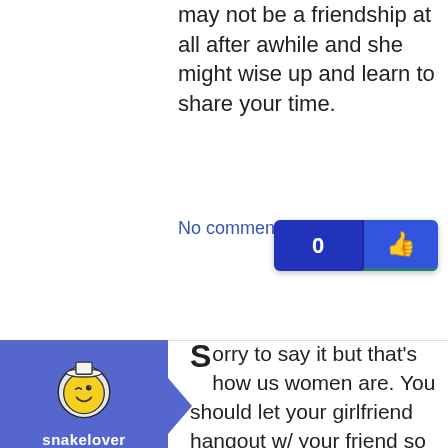may not be a friendship at all after awhile and she might wise up and learn to share your time.
No comments
[Figure (other): Like button with count 0 and thumbs up icon]
[Figure (other): User avatar: snakelover - cartoon winking face with yellow circle on blue background]
Sorry to say it but that's how us women are. You should let your girlfriend hangout w/ your friend so they can get to know each other. My advice would be to let your friend ask your girlfriend out to go shopping or something. It might be easier if the 3 of you hung out first so your girlfriend would be a bit more comfortable around her. If